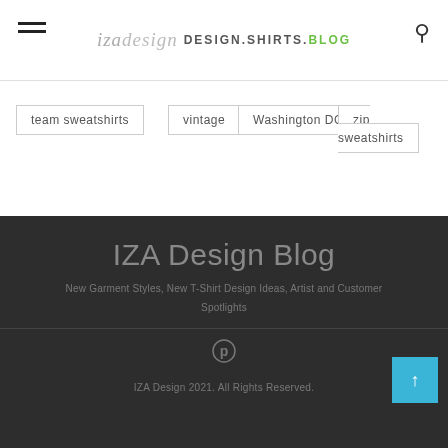izadesign DESIGN.SHIRTS.BLOG
team sweatshirts
vintage
Washington DC
zip sweatshirts
IZA Design Blog
New Garment Styles, New T-Shirt Design Ideas, Artist and Customer Spotlights
IZA Design 2021. All Rights Reserved.